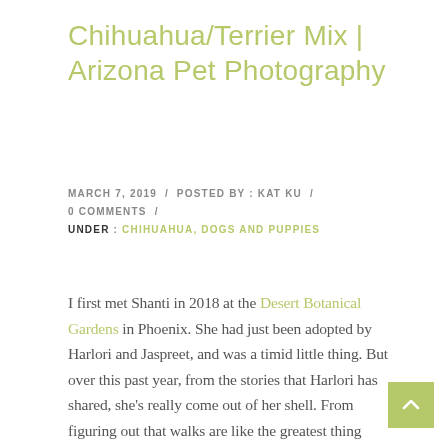Chihuahua/Terrier Mix | Arizona Pet Photography
MARCH 7, 2019 / POSTED BY: KAT KU / 0 COMMENTS / UNDER: CHIHUAHUA, DOGS AND PUPPIES
I first met Shanti in 2018 at the Desert Botanical Gardens in Phoenix. She had just been adopted by Harlori and Jaspreet, and was a timid little thing. But over this past year, from the stories that Harlori has shared, she’s really come out of her shell. From figuring out that walks are like the greatest thing ever, head pats are amazing, and that if you push yourself